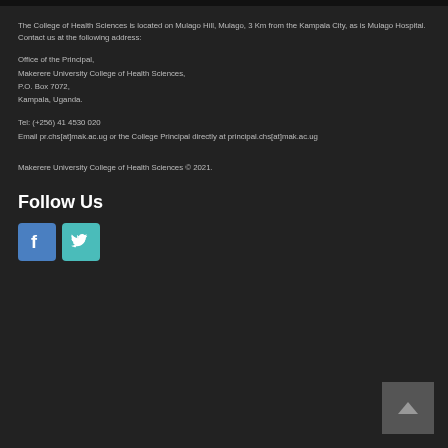The College of Health Sciences is located on Mulago Hill, Mulago, 3 Km from the Kampala City, as is Mulago Hospital. Contact us at the following address:
Office of the Principal,
Makerere University College of Health Sciences,
P.O. Box 7072,
Kampala, Uganda.
Tel: (+256) 41 4530 020
Email pr.chs[at]mak.ac.ug or the College Principal directly at principal.chs[at]mak.ac.ug
Makerere University College of Health Sciences © 2021.
Follow Us
[Figure (illustration): Facebook and Twitter social media icon buttons in blue and teal colors respectively]